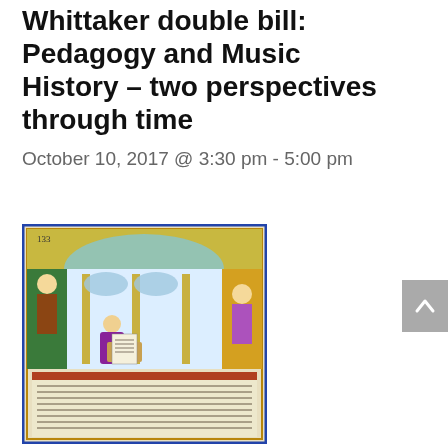Whittaker double bill: Pedagogy and Music History – two perspectives through time
October 10, 2017 @ 3:30 pm - 5:00 pm
[Figure (illustration): Illuminated medieval manuscript page showing a scribe writing at a desk, surrounded by ornate architectural borders with figures, decorated with colorful illustrations in blue, green, gold, and red tones.]